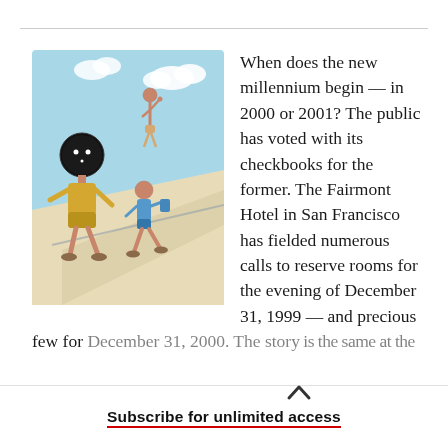[Figure (illustration): Colorful illustration showing three stick-figure-like characters running/celebrating on a path with a light blue sky and clouds in the background. Characters appear to be celebrating the new millennium.]
When does the new millennium begin — in 2000 or 2001? The public has voted with its checkbooks for the former. The Fairmont Hotel in San Francisco has fielded numerous calls to reserve rooms for the evening of December 31, 1999 — and precious few for December 31, 2000. The story is the same at the
Subscribe for unlimited access